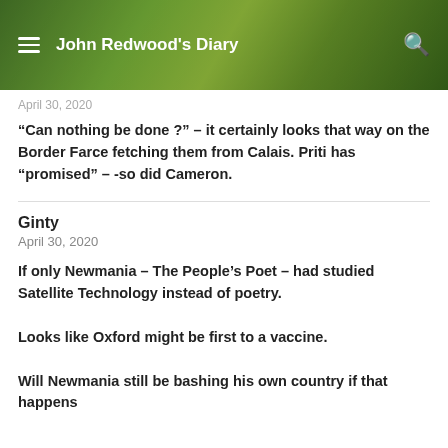John Redwood's Diary
April 30, 2020
“Can nothing be done ?” – it certainly looks that way on the Border Farce fetching them from Calais. Priti has “promised” – -so did Cameron.
Ginty
April 30, 2020
If only Newmania – The People’s Poet – had studied Satellite Technology instead of poetry.
Looks like Oxford might be first to a vaccine.
Will Newmania still be bashing his own country if that happens